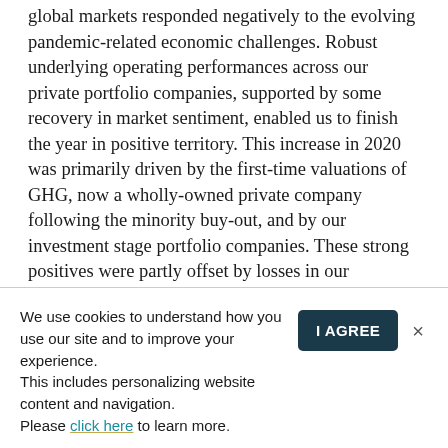global markets responded negatively to the evolving pandemic-related economic challenges. Robust underlying operating performances across our private portfolio companies, supported by some recovery in market sentiment, enabled us to finish the year in positive territory. This increase in 2020 was primarily driven by the first-time valuations of GHG, now a wholly-owned private company following the minority buy-out, and by our investment stage portfolio companies. These strong positives were partly offset by losses in our hospitality and real estate businesses, a 24.9% decrease in the BoG share price, and an FX loss reflecting the impact of the GEL devaluation in the year on our net debt.
We use cookies to understand how you use our site and to improve your experience. This includes personalizing website content and navigation. Please click here to learn more.